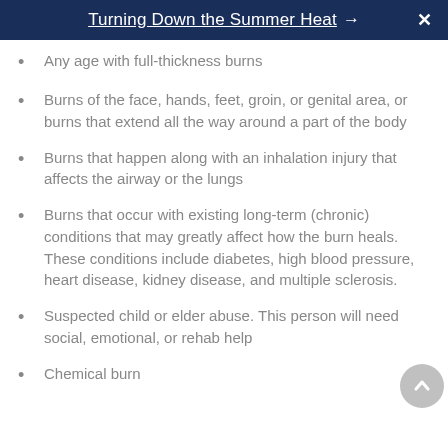Turning Down the Summer Heat →
Any age with full-thickness burns
Burns of the face, hands, feet, groin, or genital area, or burns that extend all the way around a part of the body
Burns that happen along with an inhalation injury that affects the airway or the lungs
Burns that occur with existing long-term (chronic) conditions that may greatly affect how the burn heals. These conditions include diabetes, high blood pressure, heart disease, kidney disease, and multiple sclerosis.
Suspected child or elder abuse. This person will need social, emotional, or rehab help
Chemical burn